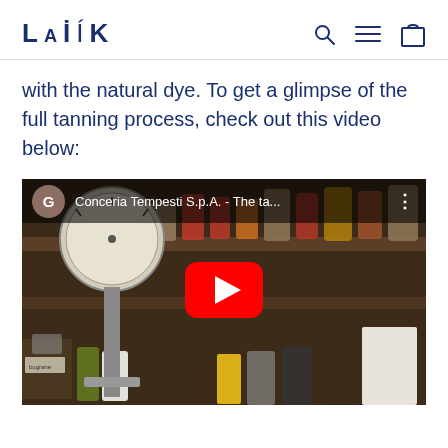LAIK
with the natural dye. To get a glimpse of the full tanning process, check out this video below:
[Figure (screenshot): YouTube video embed showing Conceria Tempesti S.p.A. - The ta... with a YouTube play button overlay. The thumbnail shows shelves with various chemical bottles and containers in a tannery setting.]